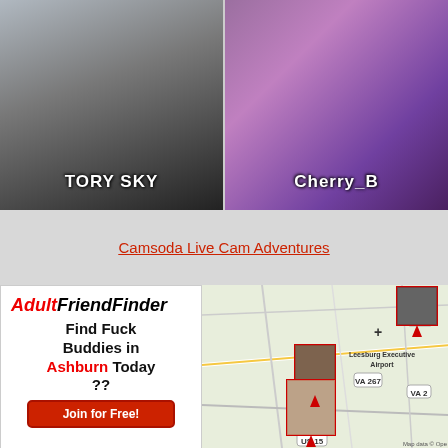[Figure (photo): Webcam screenshot of performer TORY SKY in black outfit on grey background]
[Figure (photo): Webcam screenshot of performer Cherry_B with red hair in fishnet on purple background]
Camsoda Live Cam Adventures
[Figure (infographic): AdultFriendFinder advertisement: Find Fuck Buddies in Ashburn Today ?? Join for Free!]
[Figure (map): Map showing Ashburn/Leesburg Virginia area with VA 267, VA 7, US 15 roads and Leesburg Executive Airport, with adult thumbnail pins placed on map]